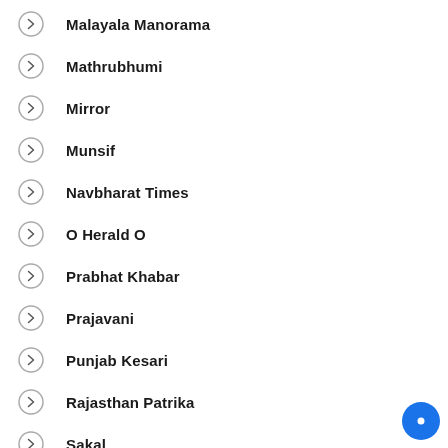Malayala Manorama
Mathrubhumi
Mirror
Munsif
Navbharat Times
O Herald O
Prabhat Khabar
Prajavani
Punjab Kesari
Rajasthan Patrika
Sakal